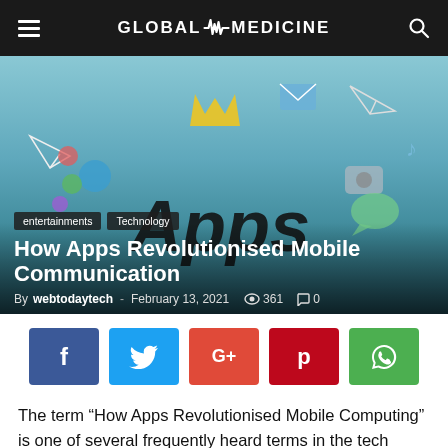GLOBAL MEDICINE
[Figure (photo): Hero image showing a hand holding a phone with drawn app icons and the word Apps, overlaid with article title and metadata]
How Apps Revolutionised Mobile Communication
By webtodaytech - February 13, 2021 361 0
[Figure (infographic): Social sharing buttons: Facebook, Twitter, Google+, Pinterest, WhatsApp]
The term “How Apps Revolutionised Mobile Computing” is one of several frequently heard terms in the tech world. Used interchangeably with “apps” or ‛their...” in the...